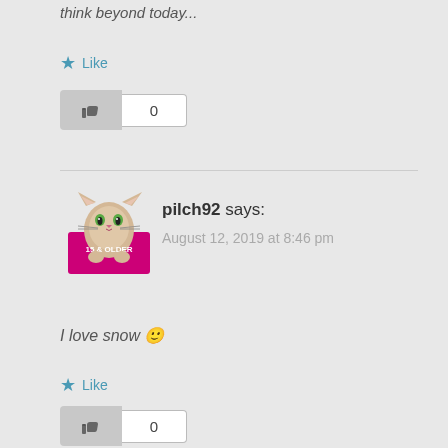think beyond today...
★ Like
[Figure (other): Thumbs up button with count 0]
[Figure (illustration): Cat avatar for pilch92]
pilch92 says:
August 12, 2019 at 8:46 pm
I love snow 🙂
★ Like
[Figure (other): Thumbs up button with count 0]